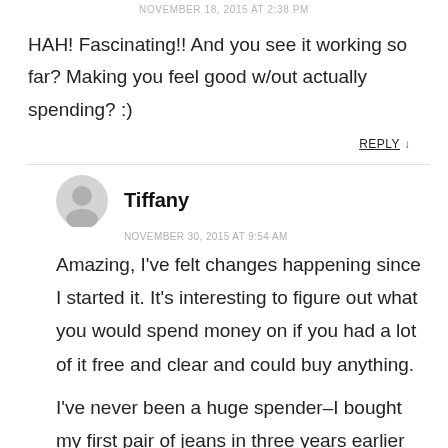NOVEMBER 18, 2015 AT 2:38 PM
HAH! Fascinating!! And you see it working so far? Making you feel good w/out actually spending? :)
REPLY ↓
Tiffany
NOVEMBER 30, 2015 AT 9:54 AM
Amazing, I've felt changes happening since I started it. It's interesting to figure out what you would spend money on if you had a lot of it free and clear and could buy anything.
I've never been a huge spender–I bought my first pair of jeans in three years earlier this